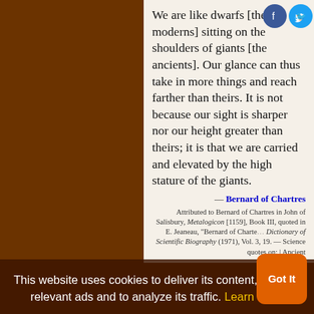We are like dwarfs [the moderns] sitting on the shoulders of giants [the ancients]. Our glance can thus take in more things and reach farther than theirs. It is not because our sight is sharper nor our height greater than theirs; it is that we are carried and elevated by the high stature of the giants.
— Bernard of Chartres
Attributed to Bernard of Chartres in John of Salisbury, Metalogicon [1159], Book III, quoted in E. Jeaneau, 'Bernard of Chartres' in C. Gillispie, Dictionary of Scientific Biography (1971), Vol. 3, 19. — Science quotes on: | Ancient
This website uses cookies to deliver its content, to show relevant ads and to analyze its traffic. Learn More